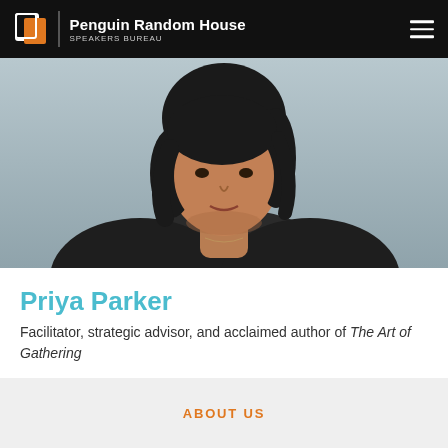Penguin Random House SPEAKERS BUREAU
[Figure (photo): Portrait photo of Priya Parker, a woman with dark hair wearing a dark denim jacket, photographed against a grey background, cropped to show head and upper torso.]
Priya Parker
Facilitator, strategic advisor, and acclaimed author of The Art of Gathering
ABOUT US